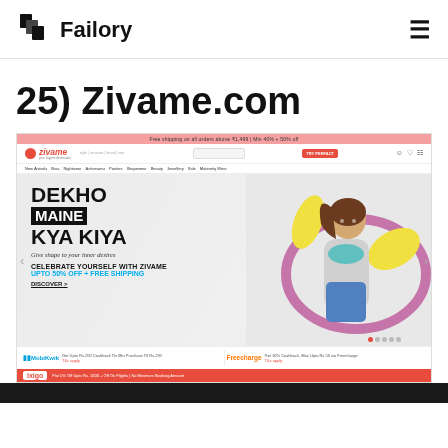Failory
25) Zivame.com
[Figure (screenshot): Screenshot of Zivame.com website showing the homepage with hero banner 'DEKHO MAINE KYA KIYA - Give shape to your inner desires - CELEBRATE YOURSELF WITH ZIVAME UPTO 50% OFF + FREE SHIPPING - DISCOVER >' featuring a woman with a hula hoop, navigation bar, payment partner banners for MobiKwik and Freecharge, and an ixigo promotional bar at the bottom.]